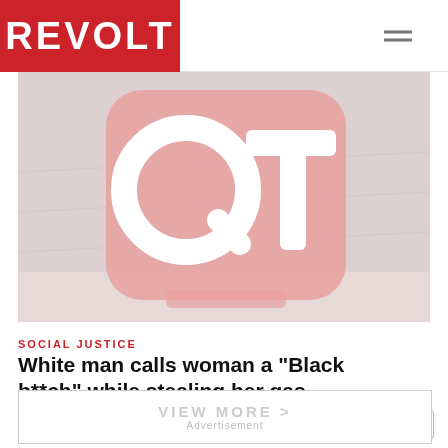REVOLT
[Figure (photo): QuikTrip (QT) gas station sign with white QT letters on a rounded red square sign against a light background]
SOCIAL JUSTICE
White man calls woman a "Black b**ch" while stealing her gas
BY ANGEL SAUNDERS / 08.29.2022